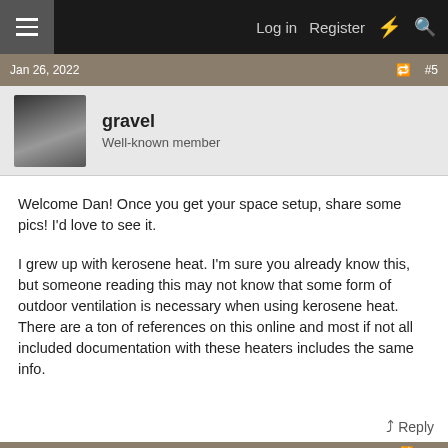Log in   Register
Jan 26, 2022  #5
gravel
Well-known member
Welcome Dan! Once you get your space setup, share some pics! I'd love to see it.

I grew up with kerosene heat. I'm sure you already know this, but someone reading this may not know that some form of outdoor ventilation is necessary when using kerosene heat. There are a ton of references on this online and most if not all included documentation with these heaters includes the same info.
Reply
Jan 26, 2022  #6